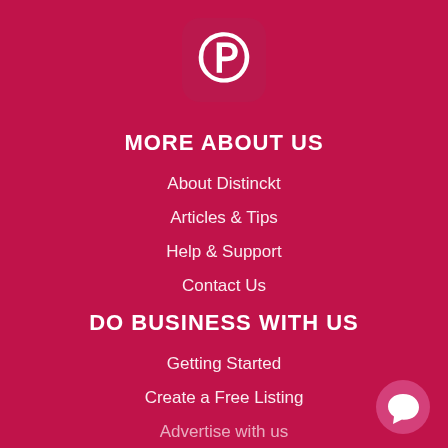[Figure (logo): Pinterest app icon — rounded square with white Pinterest 'P' logo on semi-transparent dark pink background]
MORE ABOUT US
About Distinckt
Articles & Tips
Help & Support
Contact Us
DO BUSINESS WITH US
Getting Started
Create a Free Listing
Advertise with us
[Figure (other): Chat bubble button — white speech bubble icon on pink circular background, bottom right corner]